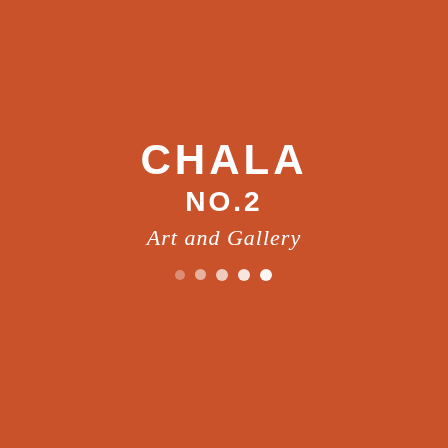[Figure (logo): CHALA NO.2 Art and Gallery logo on terracotta/burnt orange background. Large bold white text 'CHALA' on first line, 'NO.2' on second line, cursive/script 'Art and Gallery' below, followed by a row of dots in varying opacity from faint to solid white.]